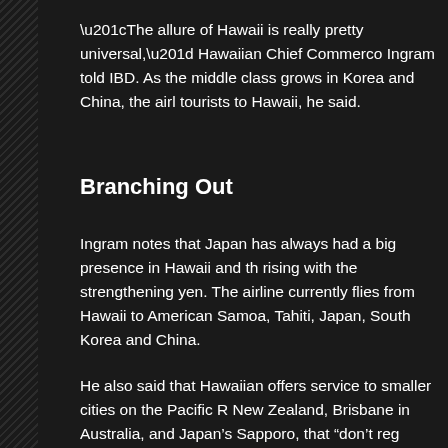“The allure of Hawaii is really pretty universal,” Hawaiian Chief Commerco Ingram told IBD. As the middle class grows in Korea and China, the airl tourists to Hawaii, he said.
Branching Out
Ingram notes that Japan has always had a big presence in Hawaii and th rising with the strengthening yen. The airline currently flies from Hawaii to American Samoa, Tahiti, Japan, South Korea and China.
He also said that Hawaiian offers service to smaller cities on the Pacific R New Zealand, Brisbane in Australia, and Japan’s Sapporo, that “don’t reg carriers.” Though, after Hawaiian began service to Auckland, American A too, says Ingram.
And of course, the airline outpaces everyone on inter-island flights within about 160 daily departures.